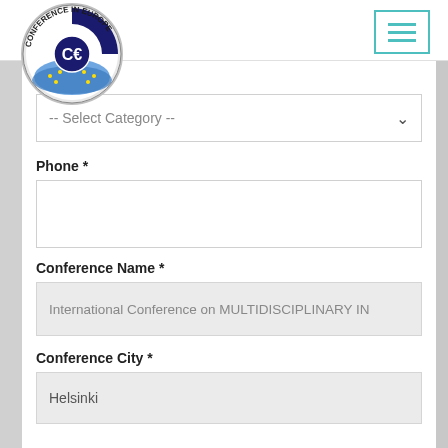[Figure (logo): Conference in Europe circular logo with blue European map and CE emblem]
[Figure (other): Hamburger menu button with three teal horizontal lines inside a teal-bordered rectangle]
Category *
-- Select Category --
Phone *
Conference Name *
International Conference on MULTIDISCIPLINARY IN
Conference City *
Helsinki